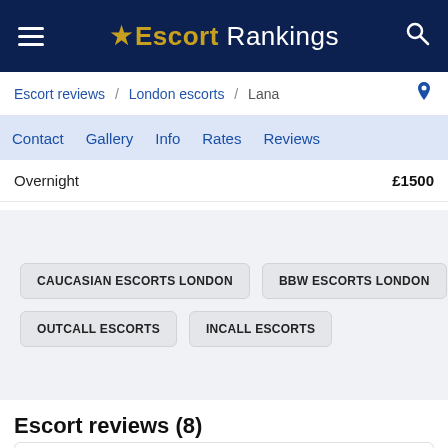Escort Rankings
Escort reviews / London escorts / Lana
Contact  Gallery  Info  Rates  Reviews
Overnight  £1500
CAUCASIAN ESCORTS LONDON
BBW ESCORTS LONDON
OUTCALL ESCORTS
INCALL ESCORTS
Escort reviews (8)
Overall ranking